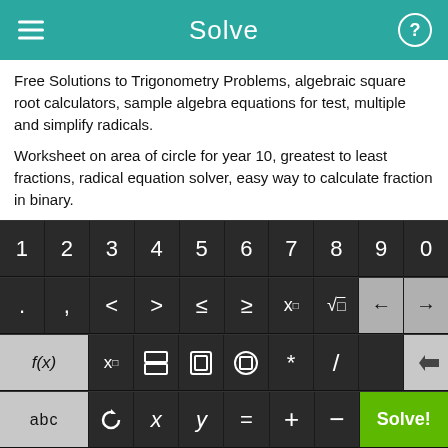Solve
Free Solutions to Trigonometry Problems, algebraic square root calculators, sample algebra equations for test, multiple and simplify radicals.
Worksheet on area of circle for year 10, greatest to least fractions, radical equation solver, easy way to calculate fraction in binary.
Find scale factor, algebra 2 prentice hall answers, simplify
[Figure (screenshot): Math keyboard with numeric keys 1-9,0 on row 1; symbols . , < > ≤ ≥ x□ √□ and arrow keys on row 2; f(x) x□ fraction absolute-value grouping * / and backspace on row 3; abc rotation-symbol x y = + - and green Solve! button on row 4]